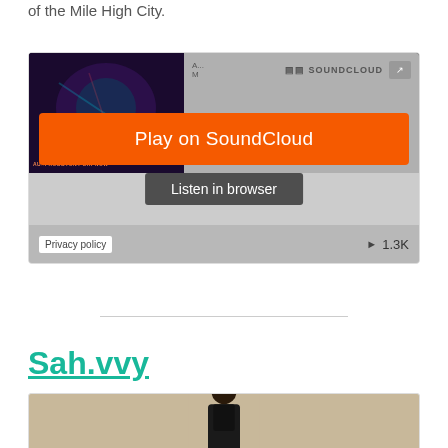of the Mile High City.
[Figure (screenshot): SoundCloud embedded player with Play on SoundCloud button and Listen in browser option, showing album artwork and play count of 1.3K]
Sah.vvy
[Figure (photo): Photo of a person, likely an artist, against a beige/tan background]